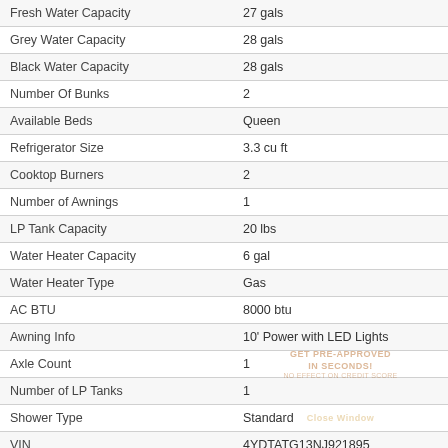| Attribute | Value |
| --- | --- |
| Fresh Water Capacity | 27 gals |
| Grey Water Capacity | 28 gals |
| Black Water Capacity | 28 gals |
| Number Of Bunks | 2 |
| Available Beds | Queen |
| Refrigerator Size | 3.3 cu ft |
| Cooktop Burners | 2 |
| Number of Awnings | 1 |
| LP Tank Capacity | 20 lbs |
| Water Heater Capacity | 6 gal |
| Water Heater Type | Gas |
| AC BTU | 8000 btu |
| Awning Info | 10' Power with LED Lights |
| Axle Count | 1 |
| Number of LP Tanks | 1 |
| Shower Type | Standard |
| VIN | 4YDTATG13NJ921895 |